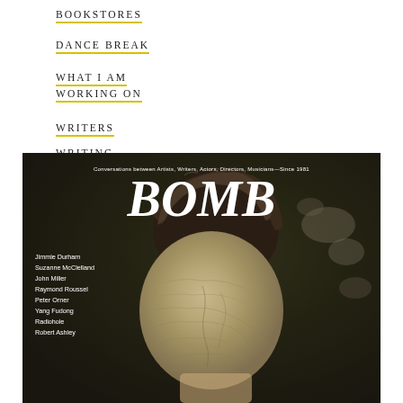BOOKSTORES
DANCE BREAK
WHAT I AM WORKING ON
WRITERS WRITING
[Figure (photo): BOMB magazine cover featuring a person with a large rock obscuring their face, with text 'Conversations between Artists, Writers, Actors, Directors, Musicians—Since 1981', title 'BOMB', and contributor names: Jimmie Durham, Suzanne McClelland, John Miller, Raymond Roussel, Peter Orner, Yang Fudong, Radiohole, Robert Ashley]